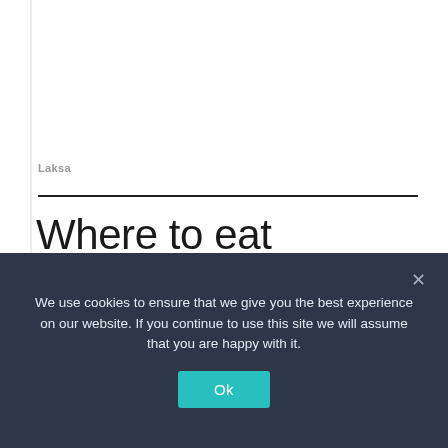Laksa
Where to eat Peranakan and Nyonya food
We use cookies to ensure that we give you the best experience on our website. If you continue to use this site we will assume that you are happy with it.